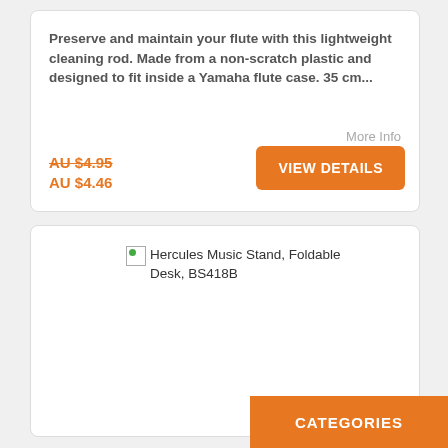Preserve and maintain your flute with this lightweight cleaning rod. Made from a non-scratch plastic and designed to fit inside a Yamaha flute case. 35 cm...
More Info
AU $4.95
AU $4.46
VIEW DETAILS
[Figure (other): Broken image placeholder with product name: Hercules Music Stand, Foldable Desk, BS418B]
CATEGORIES